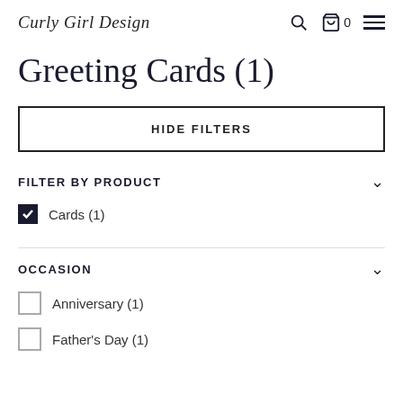Curly Girl Design — navigation bar with search, cart (0), and menu icons
Greeting Cards (1)
HIDE FILTERS
FILTER BY PRODUCT
Cards (1) — checked
OCCASION
Anniversary (1) — unchecked
Father's Day (1) — unchecked